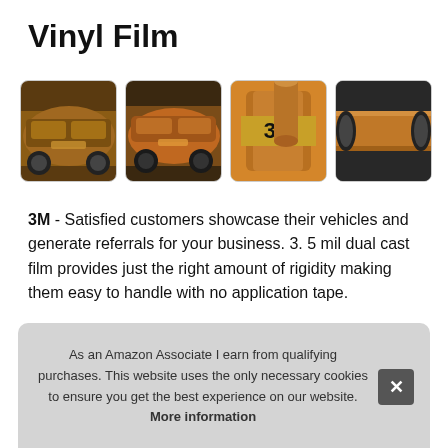Vinyl Film
[Figure (photo): Four product images in a row: two bronze/copper-colored BMW cars wrapped in vinyl film, a 3M branded vinyl film roll in bronze/copper color, and a close-up of copper/bronze vinyl film on a wheel]
3M - Satisfied customers showcase their vehicles and generate referrals for your business. 3. 5 mil dual cast film provides just the right amount of rigidity making them easy to handle with no application tape.
The sen virtu
As an Amazon Associate I earn from qualifying purchases. This website uses the only necessary cookies to ensure you get the best experience on our website. More information